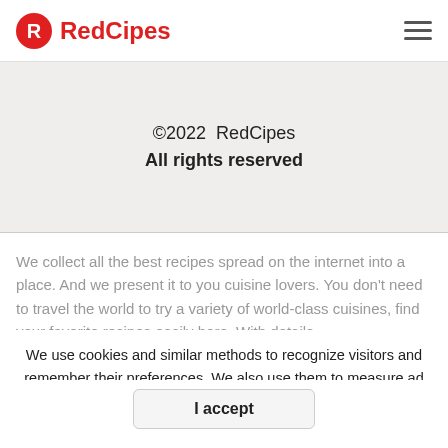RedCipes
©2022  RedCipes
All rights reserved
We collect all the best recipes spread on the internet into a place. And we present it to you cuisine lovers. You don't need to travel the world to try a variety of world-class cuisines, find your favorite recipes easily here. With details
We use cookies and similar methods to recognize visitors and remember their preferences. We also use them to measure ad campaign effectiveness, target ads and analyze site traffic. Learn more
I accept